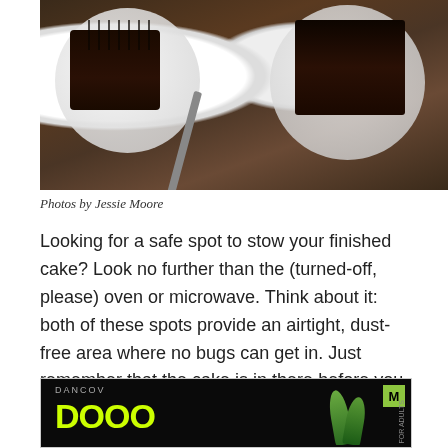[Figure (photo): Overhead view of two plates with chocolate cake slices topped with chocolate drizzle, on a dark wooden table with a fork visible]
Photos by Jessie Moore
Looking for a safe spot to stow your finished cake? Look no further than the (turned-off, please) oven or microwave. Think about it: both of these spots provide an airtight, dust-free area where no bugs can get in. Just remember that the cake is in there before you start preheating the oven, or things can get messy.
[Figure (other): Advertisement banner with dark background, green neon text reading 'DOOD', brand logo, M badge in green, and plant leaves]